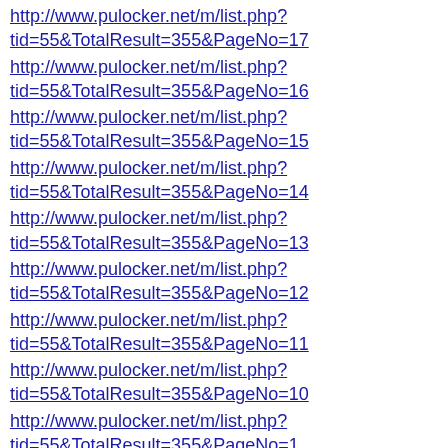http://www.pulocker.net/m/list.php?tid=55&TotalResult=355&PageNo=17
http://www.pulocker.net/m/list.php?tid=55&TotalResult=355&PageNo=16
http://www.pulocker.net/m/list.php?tid=55&TotalResult=355&PageNo=15
http://www.pulocker.net/m/list.php?tid=55&TotalResult=355&PageNo=14
http://www.pulocker.net/m/list.php?tid=55&TotalResult=355&PageNo=13
http://www.pulocker.net/m/list.php?tid=55&TotalResult=355&PageNo=12
http://www.pulocker.net/m/list.php?tid=55&TotalResult=355&PageNo=11
http://www.pulocker.net/m/list.php?tid=55&TotalResult=355&PageNo=10
http://www.pulocker.net/m/list.php?tid=55&TotalResult=355&PageNo=1
http://www.pulocker.net/m/list.php?tid=3&TotalResult=1038&PageNo=9
http://www.pulocker.net/m/list.php?tid=3&TotalResult=1038&PageNo=8
http://www.pulocker.net/m/list.php?tid=3&TotalResult=1038&PageNo=7
http://www.pulocker.net/m/list.php?tid=3&TotalResult=1038&PageNo=